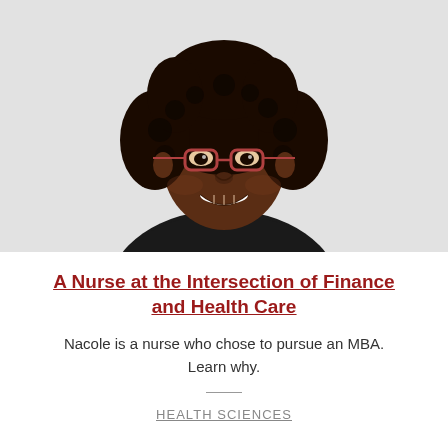[Figure (photo): Portrait photo of a smiling Black woman with curly hair and red-framed glasses, wearing a black top, against a light gray background.]
A Nurse at the Intersection of Finance and Health Care
Nacole is a nurse who chose to pursue an MBA. Learn why.
HEALTH SCIENCES